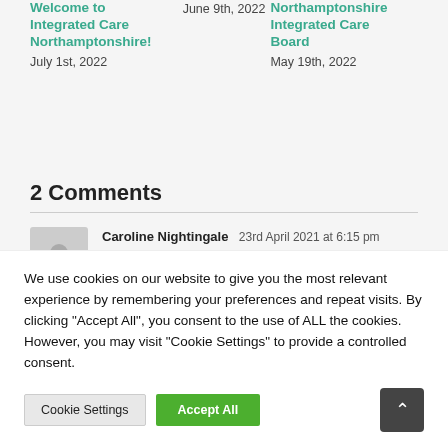Welcome to Integrated Care Northamptonshire!
July 1st, 2022
June 9th, 2022
Northamptonshire Integrated Care Board
May 19th, 2022
2 Comments
Caroline Nightingale  23rd April 2021 at 6:15 pm
Hiya my name is Caroline I would to know if you
We use cookies on our website to give you the most relevant experience by remembering your preferences and repeat visits. By clicking "Accept All", you consent to the use of ALL the cookies. However, you may visit "Cookie Settings" to provide a controlled consent.